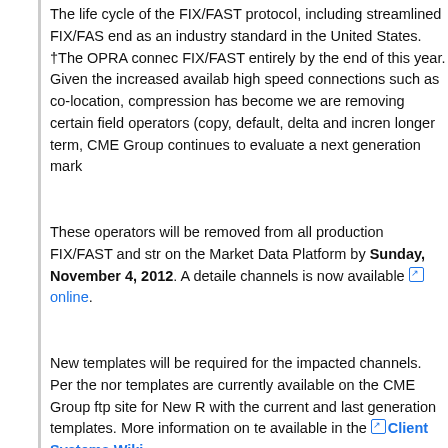The life cycle of the FIX/FAST protocol, including streamlined FIX/FAS... end as an industry standard in the United States. †The OPRA connec... FIX/FAST entirely by the end of this year. Given the increased availab... high speed connections such as co-location, compression has become... we are removing certain field operators (copy, default, delta and incren... longer term, CME Group continues to evaluate a next generation mark...
These operators will be removed from all production FIX/FAST and str... on the Market Data Platform by Sunday, November 4, 2012. A detaile... channels is now available online.
New templates will be required for the impacted channels. Per the nor... templates are currently available on the CME Group ftp site for New R... with the current and last generation templates. More information on te... available in the Client Systems Wiki.
Starting on Sunday, August 12, 2012, the current Production channe... available in the Certification environment.
By clicking “Accept All Cookies,” you agree to the storing of cookies on your device to enhance site navigation, analyze site usage, and assist in our marketing efforts.